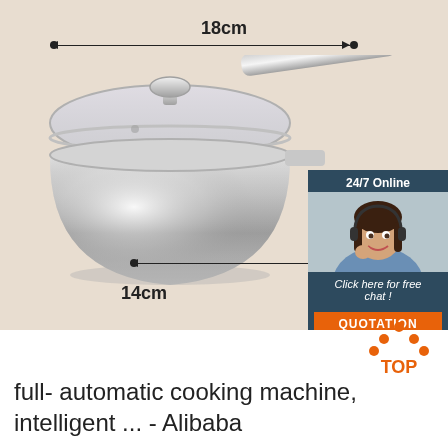[Figure (photo): Stainless steel saucepan with glass lid and long handle on beige background, with dimension annotations showing 18cm width at top and 14cm width at bottom. Includes a customer service chat widget overlay in the top right showing '24/7 Online', a smiling woman with headset, 'Click here for free chat!' text, and a QUOTATION button.]
[Figure (logo): TOP logo with orange house/tent shape made of dots above the text 'TOP' in orange bold letters]
full- automatic cooking machine, intelligent ... - Alibaba